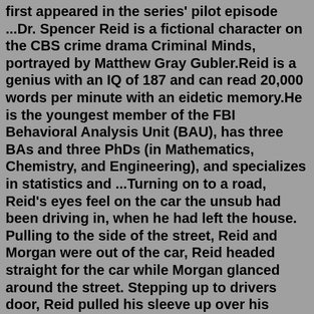first appeared in the series' pilot episode ...Dr. Spencer Reid is a fictional character on the CBS crime drama Criminal Minds, portrayed by Matthew Gray Gubler.Reid is a genius with an IQ of 187 and can read 20,000 words per minute with an eidetic memory.He is the youngest member of the FBI Behavioral Analysis Unit (BAU), has three BAs and three PhDs (in Mathematics, Chemistry, and Engineering), and specializes in statistics and ...Turning on to a road, Reid's eyes feel on the car the unsub had been driving in, when he had left the house. Pulling to the side of the street, Reid and Morgan were out of the car, Reid headed straight for the car while Morgan glanced around the street. Stepping up to drivers door, Reid pulled his sleeve up over his hands and tried the door. JJ went to get herself some coffee and Reid asked if she would get him some as well. She poured him some and put it on the table because Reid made no attempt to take it himself. Reid fumbled around before he grabbed it, and carefully drank it. "Reid, are you alright?" JJ